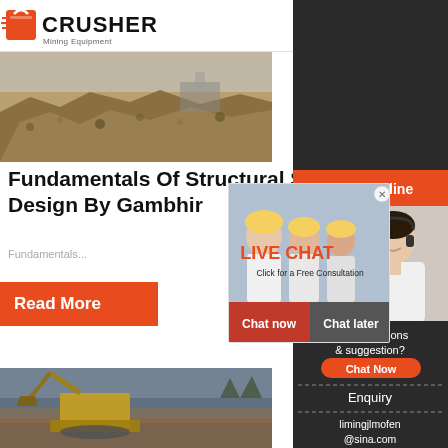[Figure (logo): Crusher Mining Equipment logo with red shopping bag icon and bold CRUSHER text]
[Figure (photo): Mining site with pile of crushed rock/gravel and equipment in background]
Fundamentals Of Structural Steel Design By Gambhir
Fundamentals...
[Figure (photo): Read More button (orange/red)]
[Figure (screenshot): Live Chat popup overlay with workers in hard hats, LIVE CHAT headline, Click for a Free Consultation, Chat now and Chat later buttons]
[Figure (photo): Mining excavator at a dig site]
[Figure (infographic): Right sidebar: 24Hrs Online bar, customer service representative photo, Need questions & suggestion? Chat Now button, Enquiry section, limingjlmofen@sina.com email]